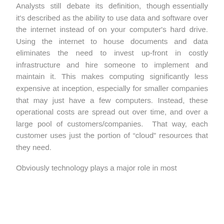Analysts still debate its definition, though essentially it's described as the ability to use data and software over the internet instead of on your computer's hard drive. Using the internet to house documents and data eliminates the need to invest up-front in costly infrastructure and hire someone to implement and maintain it. This makes computing significantly less expensive at inception, especially for smaller companies that may just have a few computers. Instead, these operational costs are spread out over time, and over a large pool of customers/companies. That way, each customer uses just the portion of “cloud” resources that they need.
Obviously technology plays a major role in most